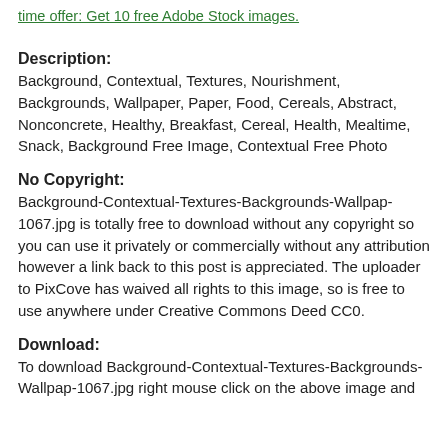time offer: Get 10 free Adobe Stock images.
Description:
Background, Contextual, Textures, Nourishment, Backgrounds, Wallpaper, Paper, Food, Cereals, Abstract, Nonconcrete, Healthy, Breakfast, Cereal, Health, Mealtime, Snack, Background Free Image, Contextual Free Photo
No Copyright:
Background-Contextual-Textures-Backgrounds-Wallpap-1067.jpg is totally free to download without any copyright so you can use it privately or commercially without any attribution however a link back to this post is appreciated. The uploader to PixCove has waived all rights to this image, so is free to use anywhere under Creative Commons Deed CC0.
Download:
To download Background-Contextual-Textures-Backgrounds-Wallpap-1067.jpg right mouse click on the above image and